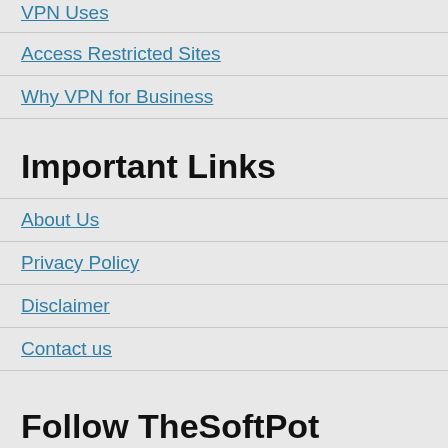VPN Uses
Access Restricted Sites
Why VPN for Business
Important Links
About Us
Privacy Policy
Disclaimer
Contact us
Follow TheSoftPot